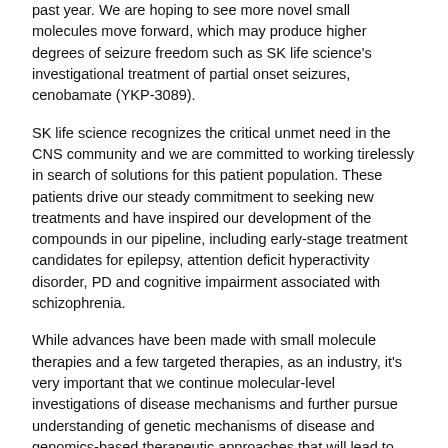past year. We are hoping to see more novel small molecules move forward, which may produce higher degrees of seizure freedom such as SK life science's investigational treatment of partial onset seizures, cenobamate (YKP-3089).
SK life science recognizes the critical unmet need in the CNS community and we are committed to working tirelessly in search of solutions for this patient population. These patients drive our steady commitment to seeking new treatments and have inspired our development of the compounds in our pipeline, including early-stage treatment candidates for epilepsy, attention deficit hyperactivity disorder, PD and cognitive impairment associated with schizophrenia.
While advances have been made with small molecule therapies and a few targeted therapies, as an industry, it's very important that we continue molecular-level investigations of disease mechanisms and further pursue understanding of genetic mechanisms of disease and genomics-based therapeutic approaches that will lead to additional targeted medicines.
Paulo Fontoura, Roche/Genentech
One area where I feel a lot of progress needs to happen is broadly on how we evaluate behavior (eg, motor or sensory skills, cognition, or social behavior) in a more quantitative and